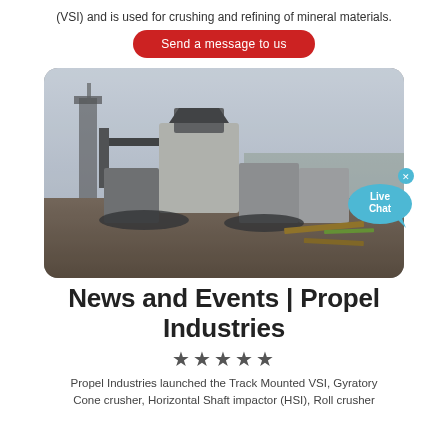(VSI) and is used for crushing and refining of mineral materials.
Send a message to us
[Figure (photo): Industrial site with track-mounted crushing/screening equipment and machinery in a dusty outdoor setting with structures in background.]
News and Events | Propel Industries
★★★★★
Propel Industries launched the Track Mounted VSI, Gyratory Cone crusher, Horizontal Shaft impactor (HSI), Roll crusher